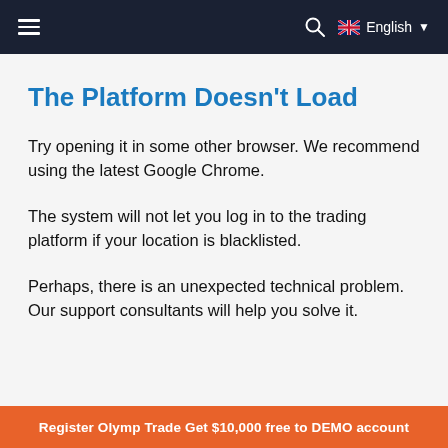≡  🔍  🇬🇧 English ▼
The Platform Doesn't Load
Try opening it in some other browser. We recommend using the latest Google Chrome.
The system will not let you log in to the trading platform if your location is blacklisted.
Perhaps, there is an unexpected technical problem. Our support consultants will help you solve it.
Register Olymp Trade Get $10,000 free to DEMO account